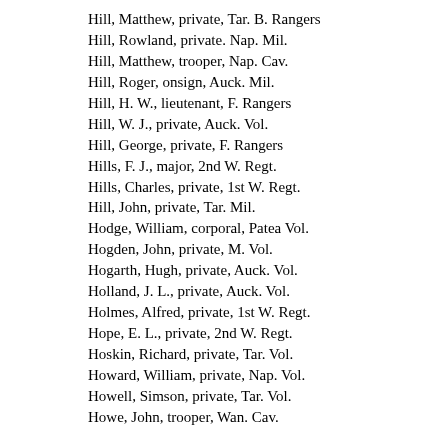Hill, Matthew, private, Tar. B. Rangers
Hill, Rowland, private. Nap. Mil.
Hill, Matthew, trooper, Nap. Cav.
Hill, Roger, onsign, Auck. Mil.
Hill, H. W., lieutenant, F. Rangers
Hill, W. J., private, Auck. Vol.
Hill, George, private, F. Rangers
Hills, F. J., major, 2nd W. Regt.
Hills, Charles, private, 1st W. Regt.
Hill, John, private, Tar. Mil.
Hodge, William, corporal, Patea Vol.
Hogden, John, private, M. Vol.
Hogarth, Hugh, private, Auck. Vol.
Holland, J. L., private, Auck. Vol.
Holmes, Alfred, private, 1st W. Regt.
Hope, E. L., private, 2nd W. Regt.
Hoskin, Richard, private, Tar. Vol.
Howard, William, private, Nap. Vol.
Howell, Simson, private, Tar. Vol.
Howe, John, trooper, Wan. Cav.